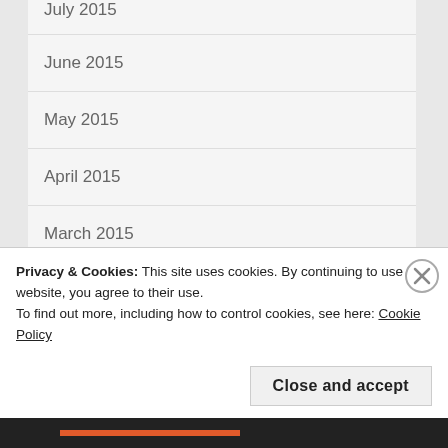July 2015
June 2015
May 2015
April 2015
March 2015
January 2015
December 2014
November 2014
Privacy & Cookies: This site uses cookies. By continuing to use this website, you agree to their use.
To find out more, including how to control cookies, see here: Cookie Policy
Close and accept